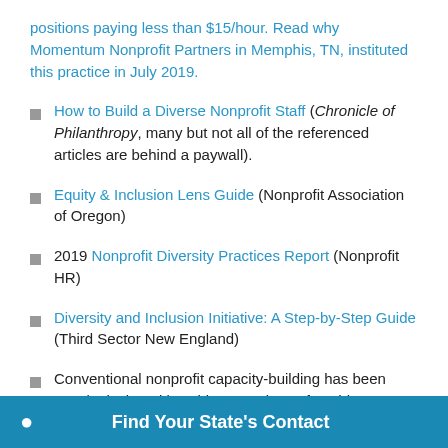positions paying less than $15/hour. Read why Momentum Nonprofit Partners in Memphis, TN, instituted this practice in July 2019.
How to Build a Diverse Nonprofit Staff (Chronicle of Philanthropy, many but not all of the referenced articles are behind a paywall).
Equity & Inclusion Lens Guide (Nonprofit Association of Oregon)
2019 Nonprofit Diversity Practices Report (Nonprofit HR)
Diversity and Inclusion Initiative: A Step-by-Step Guide (Third Sector New England)
Conventional nonprofit capacity-building has been mostly designed by white consultants for white,
Find Your State's Contact